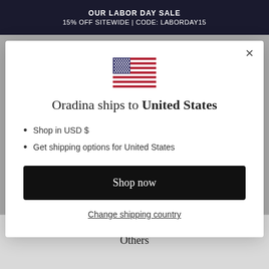OUR LABOR DAY SALE
15% OFF SITEWIDE | CODE: LABORDAY15
[Figure (illustration): United States flag emoji/icon]
Oradina ships to United States
Shop in USD $
Get shipping options for United States
Shop now
Change shipping country
GOLD FILLED | GOLD VERMEIL | GOLD PLATED
Others